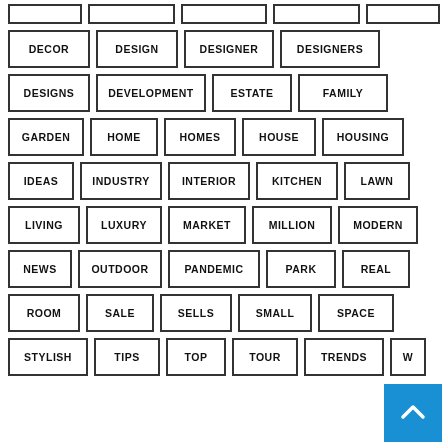DECOR
DESIGN
DESIGNER
DESIGNERS
DESIGNS
DEVELOPMENT
ESTATE
FAMILY
GARDEN
HOME
HOMES
HOUSE
HOUSING
IDEAS
INDUSTRY
INTERIOR
KITCHEN
LAWN
LIVING
LUXURY
MARKET
MILLION
MODERN
NEWS
OUTDOOR
PANDEMIC
PARK
REAL
ROOM
SALE
SELLS
SMALL
SPACE
STYLISH
TIPS
TOP
TOUR
TRENDS
W...